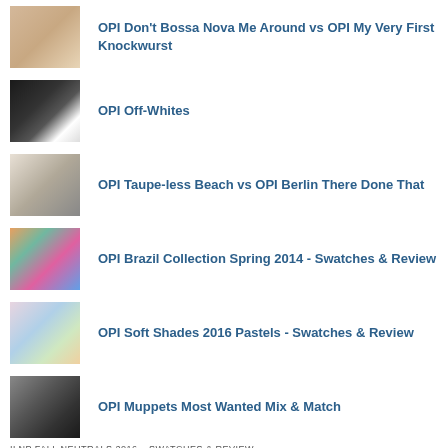OPI Don't Bossa Nova Me Around vs OPI My Very First Knockwurst
OPI Off-Whites
OPI Taupe-less Beach vs OPI Berlin There Done That
OPI Brazil Collection Spring 2014 - Swatches & Review
OPI Soft Shades 2016 Pastels - Swatches & Review
OPI Muppets Most Wanted Mix & Match
ILNP FALL NEUTRALS 2016 – SWATCHES & REVIEW
[Figure (photo): Three nail swatches showing neutral tones: a warm beige/nude, a lighter sheer pink, and a silver glitter nail polish]